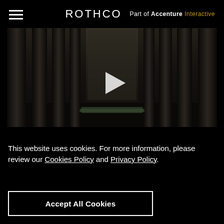ROTHCO Part of Accenture Interactive
[Figure (screenshot): Dark cinematic video thumbnail showing classical building columns with a person lying on the floor, center play button overlay]
This website uses cookies. For more information, please review our Cookies Policy and Privacy Policy.
Accept All Cookies